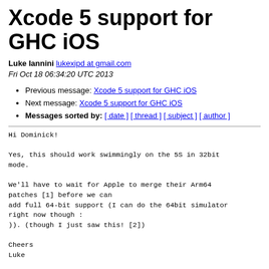Xcode 5 support for GHC iOS
Luke Iannini lukexipd at gmail.com
Fri Oct 18 06:34:20 UTC 2013
Previous message: Xcode 5 support for GHC iOS
Next message: Xcode 5 support for GHC iOS
Messages sorted by: [ date ] [ thread ] [ subject ] [ author ]
Hi Dominick!

Yes, this should work swimmingly on the 5S in 32bit
mode.

We'll have to wait for Apple to merge their Arm64
patches [1] before we can
add full 64-bit support (I can do the 64bit simulator
right now though :
)). (though I just saw this! [2])

Cheers
Luke

[1]  http://lists.cs.uiuc.edu/pipermail/llvmdev/2013-September/065480.html
[2]  http://lists.cs.uiuc.edu/pipermail/llvmdev/2013-...